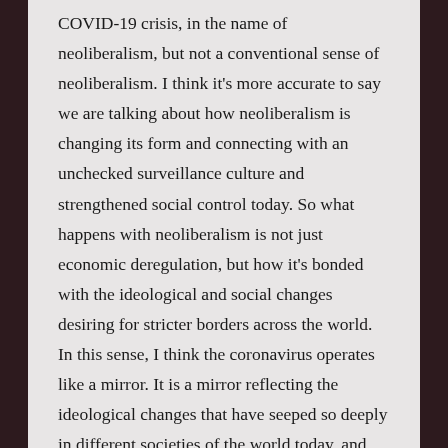COVID-19 crisis, in the name of neoliberalism, but not a conventional sense of neoliberalism. I think it's more accurate to say we are talking about how neoliberalism is changing its form and connecting with an unchecked surveillance culture and strengthened social control today. So what happens with neoliberalism is not just economic deregulation, but how it's bonded with the ideological and social changes desiring for stricter borders across the world. In this sense, I think the coronavirus operates like a mirror. It is a mirror reflecting the ideological changes that have seeped so deeply in different societies of the world today, and provoking our reflections to make sense of and respond to these changes. This issue also goes back to our